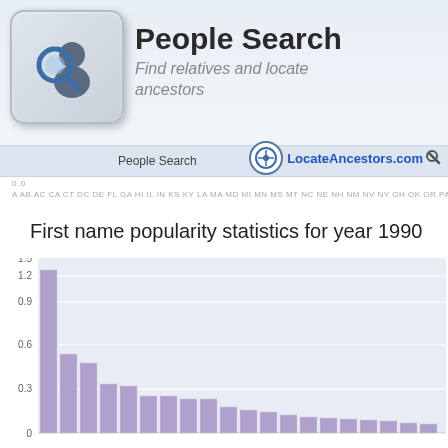[Figure (logo): People Search logo: keyboard key icon with magnifying glass and person silhouette]
People Search
Find relatives and locate ancestors
People Search   LocateAncestors.com
A AB AC CA CT DC DE FL GA HI IL IN KS KY LA MA MD MI MN MS MT NC NE NH NM NV NY OH OR PA RI SC TN VA VT WN V
First name popularity statistics for year 1990
[Figure (bar-chart): First name popularity statistics for year 1990]